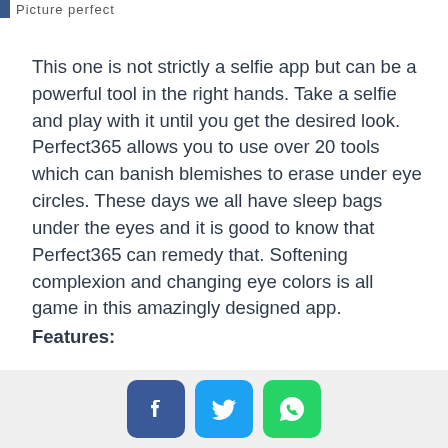Picture perfect
This one is not strictly a selfie app but can be a powerful tool in the right hands. Take a selfie and play with it until you get the desired look. Perfect365 allows you to use over 20 tools which can banish blemishes to erase under eye circles. These days we all have sleep bags under the eyes and it is good to know that Perfect365 can remedy that. Softening complexion and changing eye colors is all game in this amazingly designed app.
Features:
A assortint of over which is a sort...